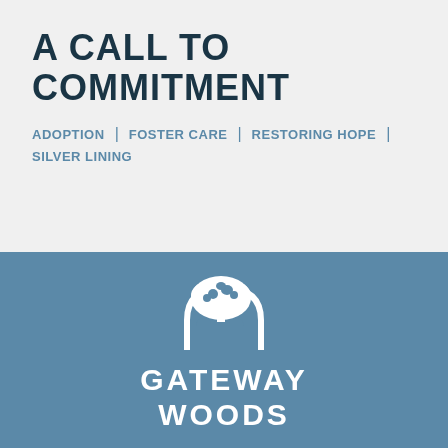A CALL TO COMMITMENT
ADOPTION | FOSTER CARE | RESTORING HOPE | SILVER LINING
[Figure (logo): Gateway Woods logo: white arch/tree icon above 'GATEWAY WOODS' text on blue background]